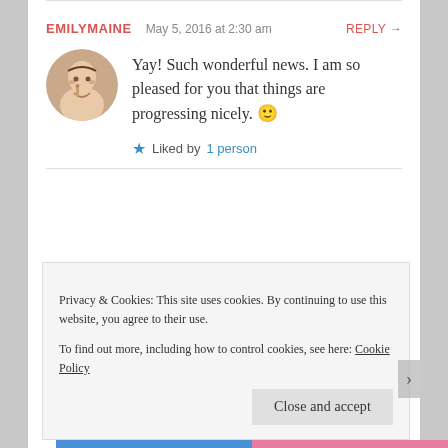EMILYMAINE   May 5, 2016 at 2:30 am   REPLY →
[Figure (photo): Avatar photo of a person with finger on lips]
Yay! Such wonderful news. I am so pleased for you that things are progressing nicely. 🙂
★ Liked by 1 person
Privacy & Cookies: This site uses cookies. By continuing to use this website, you agree to their use. To find out more, including how to control cookies, see here: Cookie Policy
Close and accept